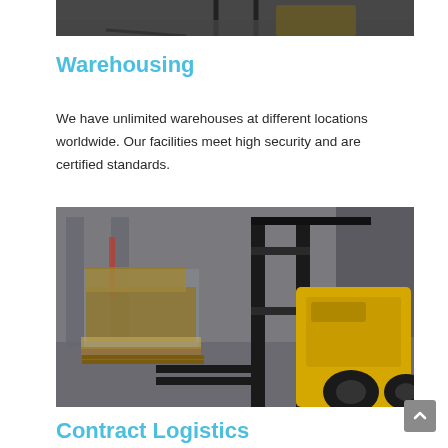[Figure (photo): Top portion of a forklift in a warehouse, cropped view showing the mast and forks]
Warehousing
We have unlimited warehouses at different locations worldwide. Our facilities meet high security and are certified standards.
[Figure (photo): A yellow forklift carrying wrapped boxes on pallets inside a warehouse facility]
Contract Logistics